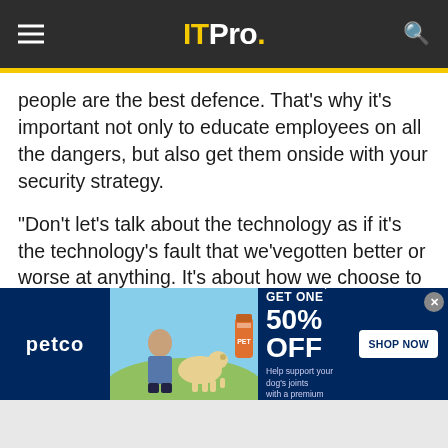ITPro.
people are the best defence. That's why it's important not only to educate employees on all the dangers, but also get them onside with your security strategy.
"Don't let's talk about the technology as if it's the technology's fault that we'vegotten better or worse at anything. It's about how we choose to use the tools we've got," Codrington added.
A business's biggest asset is its people, and equipping them with the right technology to unlock
[Figure (other): Petco advertisement banner: BUY ONE, GET ONE 50% OFF - Help support your dog's joints with a premium supplement. SHOP NOW button. Shows a woman with a dog and supplement product.]